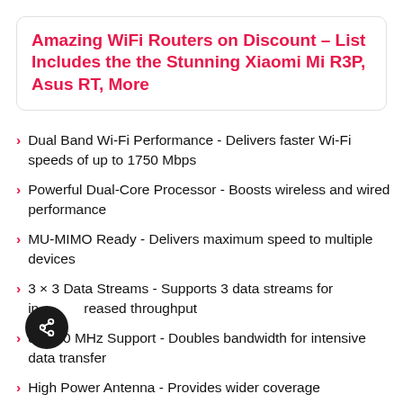Amazing WiFi Routers on Discount – List Includes the the Stunning Xiaomi Mi R3P, Asus RT, More
Dual Band Wi-Fi Performance - Delivers faster Wi-Fi speeds of up to 1750 Mbps
Powerful Dual-Core Processor - Boosts wireless and wired performance
MU-MIMO Ready - Delivers maximum speed to multiple devices
3 × 3 Data Streams - Supports 3 data streams for increased throughput
80/160 MHz Support - Doubles bandwidth for intensive data transfer
High Power Antenna - Provides wider coverage